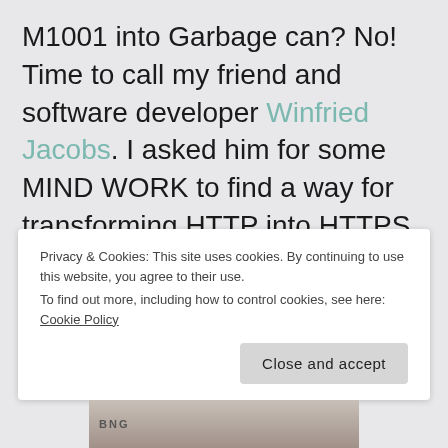M1001 into Garbage can? No! Time to call my friend and software developer Winfried Jacobs. I asked him for some MIND WORK to find a way for transforming HTTP into HTTPS requests. And here is what came to his mind while on a bike ride.
Privacy & Cookies: This site uses cookies. By continuing to use this website, you agree to their use.
To find out more, including how to control cookies, see here: Cookie Policy
Close and accept